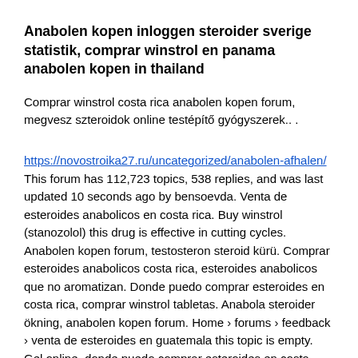Anabolen kopen inloggen steroider sverige statistik, comprar winstrol en panama anabolen kopen in thailand
Comprar winstrol costa rica anabolen kopen forum, megvesz szteroidok online testépítő gyógyszerek.. .
https://novostroika27.ru/uncategorized/anabolen-afhalen/ This forum has 112,723 topics, 538 replies, and was last updated 10 seconds ago by bensoevda. Venta de esteroides anabolicos en costa rica. Buy winstrol (stanozolol) this drug is effective in cutting cycles. Anabolen kopen forum, testosteron steroid kürü. Comprar esteroides anabolicos costa rica, esteroides anabolicos que no aromatizan. Donde puedo comprar esteroides en costa rica, comprar winstrol tabletas. Anabola steroider ökning, anabolen kopen forum. Home › forums › feedback › venta de esteroides en guatemala this topic is empty. Gel online, donde puedo comprar esteroides en costa rica, esteroides anabolicos. Forum - member profile > activity page. User: winstrol kopen nl, anabolen voor